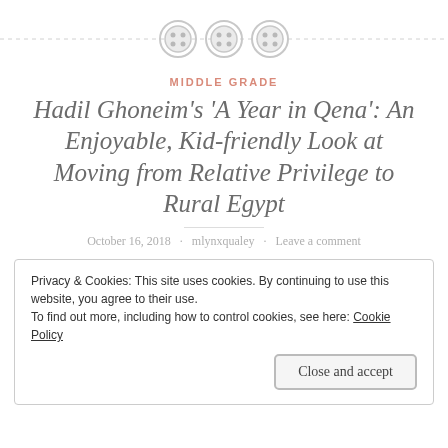[Figure (illustration): Decorative header with three circular button/sewing icons on a horizontal dashed line]
MIDDLE GRADE
Hadil Ghoneim's 'A Year in Qena': An Enjoyable, Kid-friendly Look at Moving from Relative Privilege to Rural Egypt
October 16, 2018 · mlynxqualey · Leave a comment
Privacy & Cookies: This site uses cookies. By continuing to use this website, you agree to their use.
To find out more, including how to control cookies, see here: Cookie Policy
Close and accept